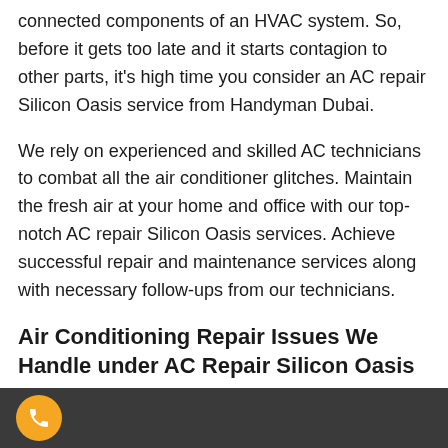connected components of an HVAC system. So, before it gets too late and it starts contagion to other parts, it's high time you consider an AC repair Silicon Oasis service from Handyman Dubai.
We rely on experienced and skilled AC technicians to combat all the air conditioner glitches. Maintain the fresh air at your home and office with our top-notch AC repair Silicon Oasis services. Achieve successful repair and maintenance services along with necessary follow-ups from our technicians.
Air Conditioning Repair Issues We Handle under AC Repair Silicon Oasis